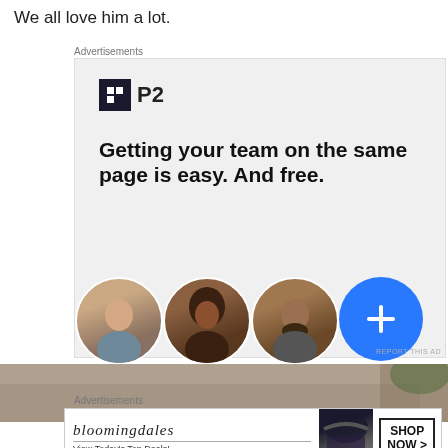We all love him a lot.
Advertisements
[Figure (illustration): P2 advertisement banner showing P2 logo, headline 'Getting your team on the same page is easy. And free.' with three circular avatar photos and a blue plus button]
[Figure (photo): Partial photo of a couch/sofa area with a close button overlay]
Advertisements
[Figure (illustration): Bloomingdale's advertisement banner with text 'View Today's Top Deals!' and 'SHOP NOW >' button]